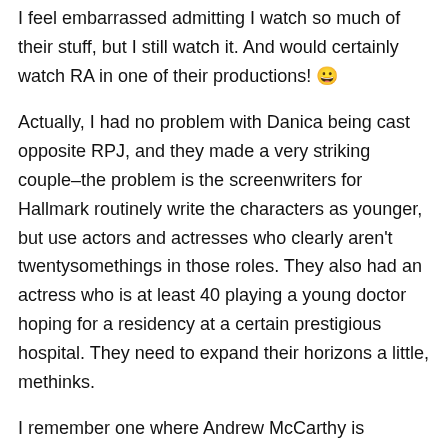I feel embarrassed admitting I watch so much of their stuff, but I still watch it. And would certainly watch RA in one of their productions! 😀
Actually, I had no problem with Danica being cast opposite RPJ, and they made a very striking couple–the problem is the screenwriters for Hallmark routinely write the characters as younger, but use actors and actresses who clearly aren't twentysomethings in those roles. They also had an actress who is at least 40 playing a young doctor hoping for a residency at a certain prestigious hospital. They need to expand their horizons a little, methinks.
I remember one where Andrew McCarthy is supposed to be a young executive on the rise